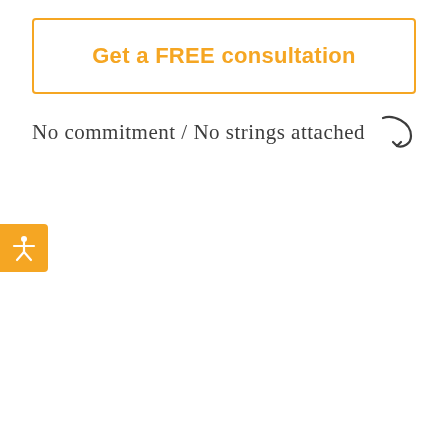Get a FREE consultation
No commitment / No strings attached
[Figure (illustration): Orange accessibility icon button on the left edge showing a person with arms outstretched]